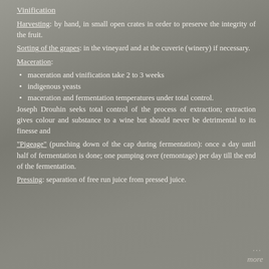Vinification
Harvesting: by hand, in small open crates in order to preserve the integrity of the fruit.
Sorting of the grapes: in the vineyard and at the cuverie (winery) if necessary.
Maceration:
maceration and vinification take 2 to 3 weeks
indigenous yeasts
maceration and fermentation temperatures under total control.
Joseph Drouhin seeks total control of the process of extraction; extraction gives colour and substance to a wine but should never be detrimental to its finesse and
"Pigeage" (punching down of the cap during fermentation): once a day until half of fermentation is done; one pumping over (remontage) per day till the end of the fermentation.
Pressing: separation of free run juice from pressed juice.
... more